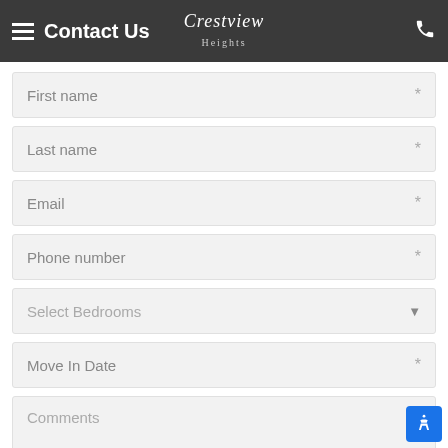Contact Us — Crestview Heights
First name *
Last name *
Email *
Phone number *
Select Bedrooms ▼
Move In Date *
Comments